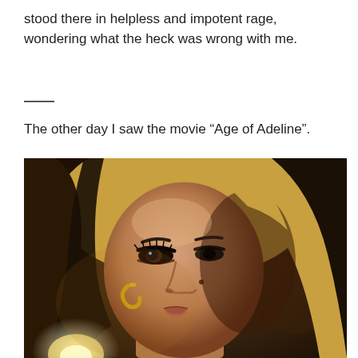stood there in helpless and impotent rage, wondering what the heck was wrong with me.
The other day I saw the movie “Age of Adeline”.
[Figure (photo): Close-up movie still from 'Age of Adeline' showing a blonde woman with dramatic eye makeup and a gold earring, lit by warm candlelight in a dark scene.]